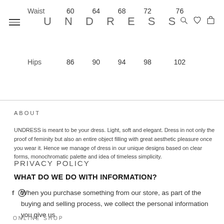|  | 60 | 64 | 68 | 72 | 76 |
| --- | --- | --- | --- | --- | --- |
| Waist | 60 | 64 | 68 | 72 | 76 |
| Hips | 86 | 90 | 94 | 98 | 102 |
UNDRESS
ABOUT
UNDRESS is meant to be your dress. Light, soft and elegant. Dress in not only the proof of feminity but also an entire object filling with great aesthetic pleasure once you wear it. Hence we manage of dress in our unique designs based on clear forms, monochromatic palette and idea of timeless simplicity.
PRIVACY POLICY
WHAT DO WE DO WITH INFORMATION?
When you purchase something from our store, as part of the buying and selling process, we collect the personal information you give us
ONLINE SHOP